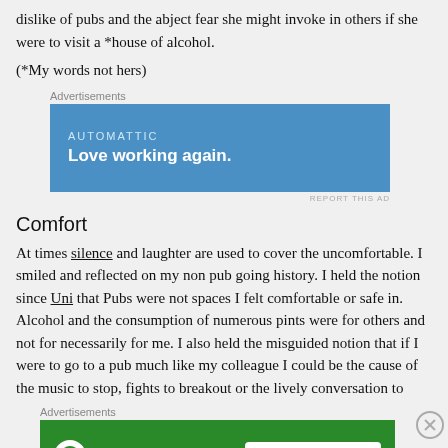dislike of pubs and the abject fear she might invoke in others if she were to visit a *house of alcohol.
(*My words not hers)
[Figure (other): Advertisement banner: Automattic — Love working again.]
Comfort
At times silence and laughter are used to cover the uncomfortable. I smiled and reflected on my non pub going history. I held the notion since Uni that Pubs were not spaces I felt comfortable or safe in. Alcohol and the consumption of numerous pints were for others and not for necessarily for me. I also held the misguided notion that if I were to go to a pub much like my colleague I could be the cause of the music to stop, fights to breakout or the lively conversation to
[Figure (other): Advertisement banner: Jetpack — Back up your site]